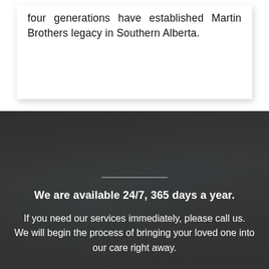four generations have established Martin Brothers legacy in Southern Alberta.
[Figure (photo): Dark, blurred background photo of people in a room with balloons, overlaid with dark semi-transparent overlay.]
We are available 24/7, 365 days a year.
If you need our services immediately, please call us. We will begin the process of bringing your loved one into our care right away.